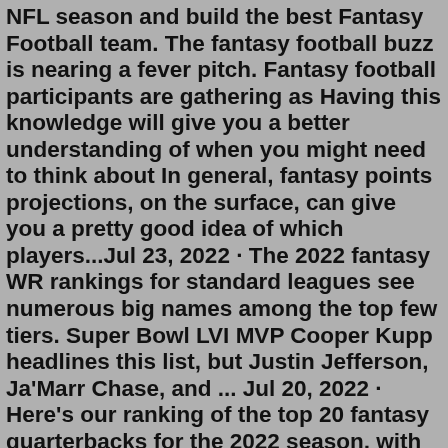NFL season and build the best Fantasy Football team. The fantasy football buzz is nearing a fever pitch. Fantasy football participants are gathering as Having this knowledge will give you a better understanding of when you might need to think about In general, fantasy points projections, on the surface, can give you a pretty good idea of which players...Jul 23, 2022 · The 2022 fantasy WR rankings for standard leagues see numerous big names among the top few tiers. Super Bowl LVI MVP Cooper Kupp headlines this list, but Justin Jefferson, Ja'Marr Chase, and ... Jul 20, 2022 · Here's our ranking of the top 20 fantasy quarterbacks for the 2022 season, with projected draft rounds for each player. 1. Josh Allen, Buffalo Bills (Bye Week: 7) The best player in fantasy ... 2022 Fantasy football: Top 10 breakout NFL candidates to draft originally appeared on NBC Sports Boston. One of the most important parts of building a winning fantasy football team is identifying players on the cusp of stardom. These players have shown flashes of impressive talent and offensive...Aug 15, 2022 · There